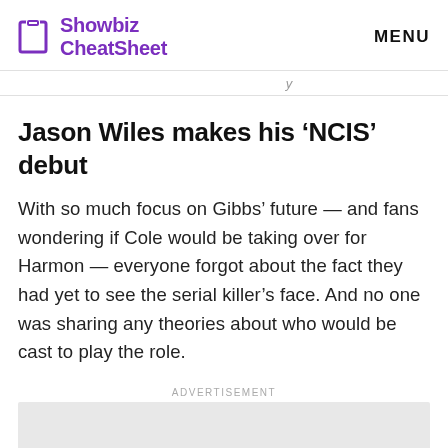Showbiz CheatSheet   MENU
Jason Wiles makes his ‘NCIS’ debut
With so much focus on Gibbs’ future — and fans wondering if Cole would be taking over for Harmon — everyone forgot about the fact they had yet to see the serial killer’s face. And no one was sharing any theories about who would be cast to play the role.
ADVERTISEMENT
[Figure (other): Gray advertisement placeholder box]